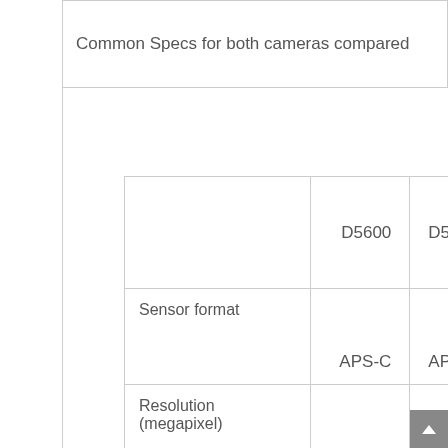Common Specs for both cameras compared
|  | D5600 | D5200 |
| --- | --- | --- |
| Sensor format | APS-C | APS-C |
| Resolution (megapixel) | 24.20 | 24.20 |
| Speed (frames/second) | 5 | 5 |
| Sensor cleaning | ✓ | ✓ |